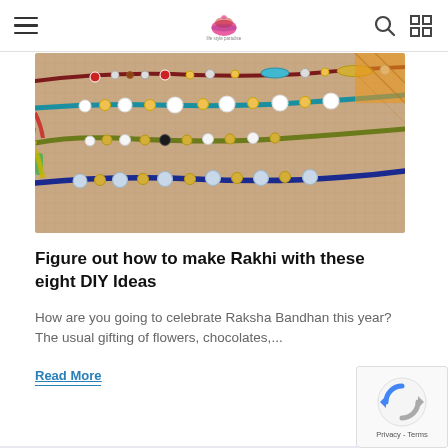Navigation header with hamburger menu, logo, search and grid icons
[Figure (photo): Close-up photo of multiple colorful Rakhi bracelets with beads and ornaments on a burlap background]
Figure out how to make Rakhi with these eight DIY Ideas
How are you going to celebrate Raksha Bandhan this year? The usual gifting of flowers, chocolates,...
Read More
[Figure (other): reCAPTCHA widget showing Privacy - Terms]